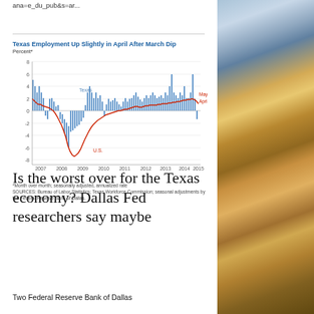ana=e_du_pub&s=ar...
[Figure (line-chart): Bar and line chart showing month-over-month seasonally adjusted annualized rate of employment change for Texas (blue bars) and U.S. (red line) from 2007 to 2015. Texas bars range roughly -1 to +7, U.S. line dips to about -8 in 2009, recovers. Final labels: May: 2.4, April: 1.0]
*Month over month; seasonally adjusted, annualized rate
SOURCES: Bureau of Labor Statistics; Texas Workforce Commission; seasonal adjustments by the Federal Reserve Bank of Dallas.
Is the worst over for the Texas economy? Dallas Fed researchers say maybe
Two Federal Reserve Bank of Dallas